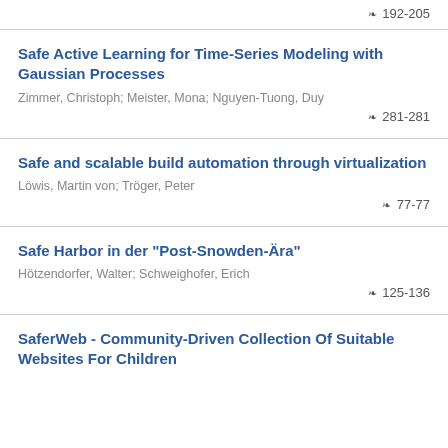🗎 192-205
Safe Active Learning for Time-Series Modeling with Gaussian Processes
Zimmer, Christoph; Meister, Mona; Nguyen-Tuong, Duy
🗎 281-281
Safe and scalable build automation through virtualization
Löwis, Martin von; Tröger, Peter
🗎 77-77
Safe Harbor in der "Post-Snowden-Ära"
Hötzendorfer, Walter; Schweighofer, Erich
🗎 125-136
SaferWeb - Community-Driven Collection Of Suitable Websites For Children